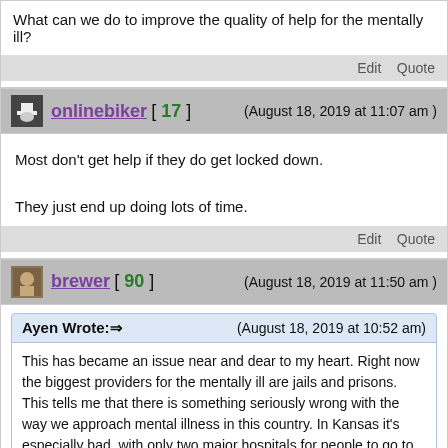What can we do to improve the quality of help for the mentally ill?
Edit   Quote
onlinebiker [ 17 ]   (August 18, 2019 at 11:07 am )
Most don't get help if they do get locked down.

They just end up doing lots of time.
Edit   Quote
brewer [ 90 ]   (August 18, 2019 at 11:50 am )
Ayen Wrote: (August 18, 2019 at 10:52 am)
This has became an issue near and dear to my heart. Right now the biggest providers for the mentally ill are jails and prisons. This tells me that there is something seriously wrong with the way we approach mental illness in this country. In Kansas it's especially bad, with only two major hospitals for people to go to, and that's only when you're already in the system. If you don't have health insurance a lot of places won't accept you, and some don't get the help they need until they're already locked up.

What can we do to improve the quality of help for the mentally ill?